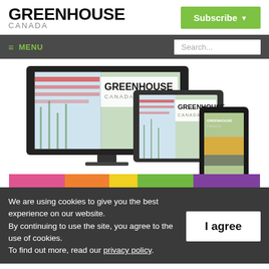GREENHOUSE CANADA
Subscribe
≡ MENU
Search...
[Figure (illustration): Greenhouse Canada magazine shown on desktop monitor, tablet, and smartphone devices]
We are using cookies to give you the best experience on our website.
By continuing to use the site, you agree to the use of cookies.
To find out more, read our privacy policy.